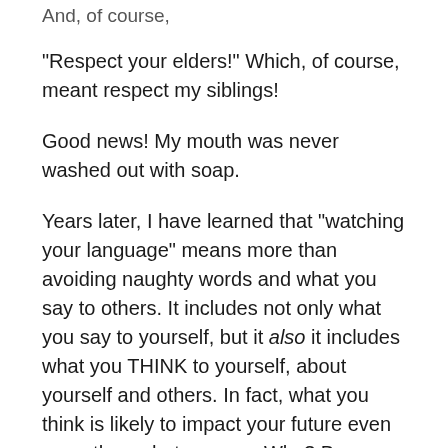And, of course,
"Respect your elders!" Which, of course, meant respect my siblings!
Good news! My mouth was never washed out with soap.
Years later, I have learned that "watching your language" means more than avoiding naughty words and what you say to others. It includes not only what you say to yourself, but it also it includes what you THINK to yourself, about yourself and others. In fact, what you think is likely to impact your future even more than what you say. Why? Because what we think cycles continuously through our minds.